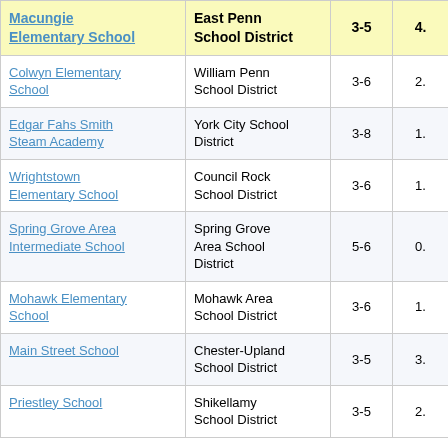| School | District | Grades |  |
| --- | --- | --- | --- |
| Macungie Elementary School | East Penn School District | 3-5 | 4. |
| Colwyn Elementary School | William Penn School District | 3-6 | 2. |
| Edgar Fahs Smith Steam Academy | York City School District | 3-8 | 1. |
| Wrightstown Elementary School | Council Rock School District | 3-6 | 1. |
| Spring Grove Area Intermediate School | Spring Grove Area School District | 5-6 | 0. |
| Mohawk Elementary School | Mohawk Area School District | 3-6 | 1. |
| Main Street School | Chester-Upland School District | 3-5 | 3. |
| Priestley School | Shikellamy School District | 3-5 | 2. |